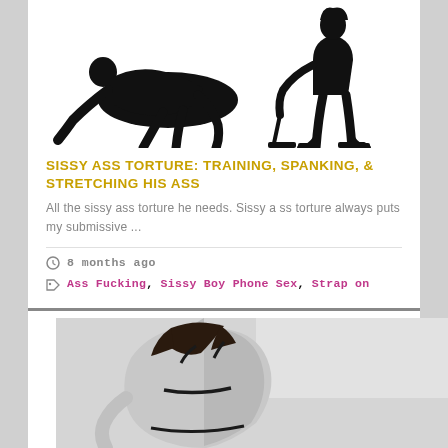[Figure (photo): Black and white silhouette photo of two figures in a BDSM dominance scene on white background]
SISSY ASS TORTURE: TRAINING, SPANKING, & STRETCHING HIS ASS
All the sissy ass torture he needs. Sissy ass torture always puts my submissive ...
8 months ago
Ass Fucking, Sissy Boy Phone Sex, Strap on
[Figure (photo): Black and white photo of a woman in lingerie, back view]